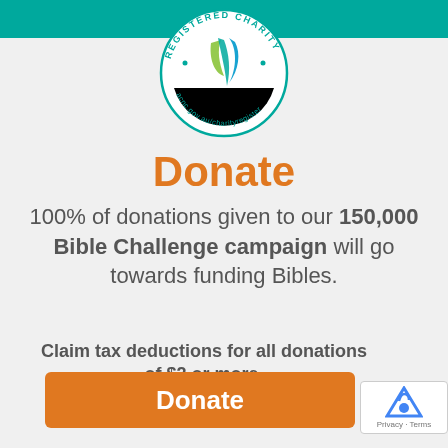[Figure (logo): ACNC Registered Charity logo — circular badge with teal/green/blue ribbon and text 'acnc.gov.au/charityregister']
Donate
100% of donations given to our 150,000 Bible Challenge campaign will go towards funding Bibles.
Claim tax deductions for all donations of $2 or more.
Donate